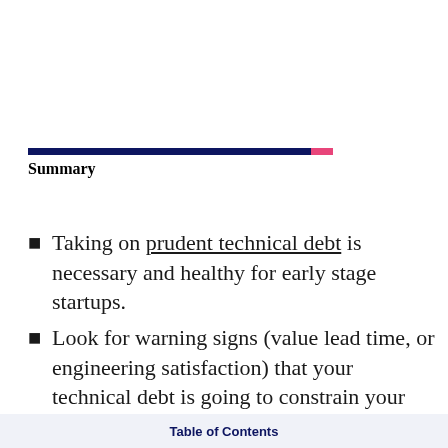Summary
Taking on prudent technical debt is necessary and healthy for early stage startups.
Look for warning signs (value lead time, or engineering satisfaction) that your technical debt is going to constrain your
Table of Contents